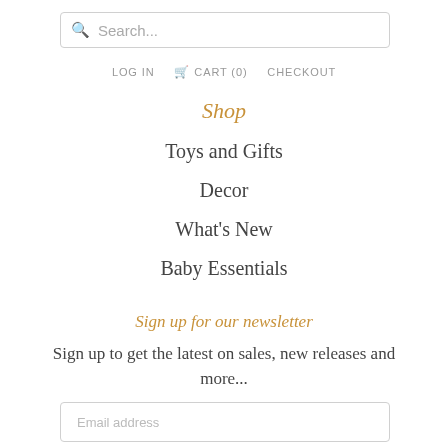Search...
LOG IN  CART (0)  CHECKOUT
Shop
Toys and Gifts
Decor
What's New
Baby Essentials
Sign up for our newsletter
Sign up to get the latest on sales, new releases and more...
Email address